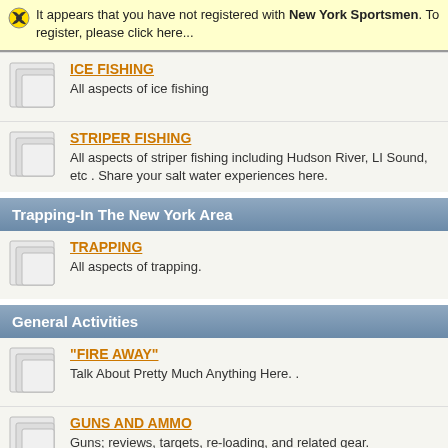It appears that you have not registered with New York Sportsmen. To register, please click here...
ICE FISHING
All aspects of ice fishing
STRIPER FISHING
All aspects of striper fishing including Hudson River, LI Sound, etc . Share your salt water experiences here.
Trapping-In The New York Area
TRAPPING
All aspects of trapping.
General Activities
"FIRE AWAY"
Talk About Pretty Much Anything Here. .
GUNS AND AMMO
Guns; reviews, targets, re-loading, and related gear.
PHOTOGRAPHY
Show us your photography outdoors or indoors, wildlife,